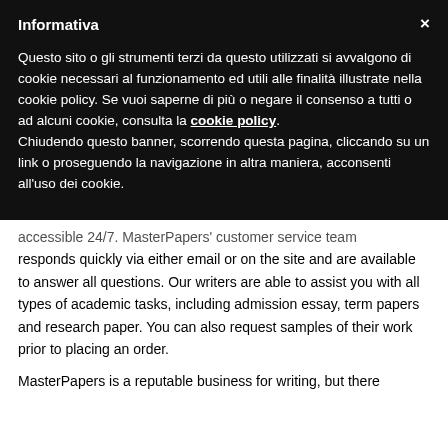Informativa
Questo sito o gli strumenti terzi da questo utilizzati si avvalgono di cookie necessari al funzionamento ed utili alle finalità illustrate nella cookie policy. Se vuoi saperne di più o negare il consenso a tutti o ad alcuni cookie, consulta la cookie policy.
Chiudendo questo banner, scorrendo questa pagina, cliccando su un link o proseguendo la navigazione in altra maniera, acconsenti all'uso dei cookie.
accessible 24/7. MasterPapers' customer service team responds quickly via either email or on the site and are available to answer all questions. Our writers are able to assist you with all types of academic tasks, including admission essay, term papers and research paper. You can also request samples of their work prior to placing an order.
MasterPapers is a reputable business for writing, but there